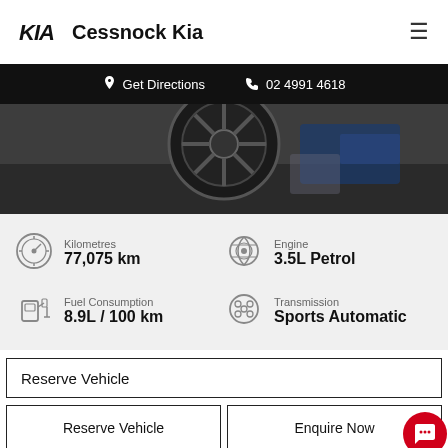Cessnock Kia
Get Directions  02 4991 4618
[Figure (photo): Aerial close-up view of a dark blue car tyre/wheel from above on a grey floor]
Kilometres
77,075 km
Engine
3.5L Petrol
Fuel Consumption
8.9L / 100 km
Transmission
Sports Automatic
Reserve Vehicle
Reserve Vehicle
Enquire Now